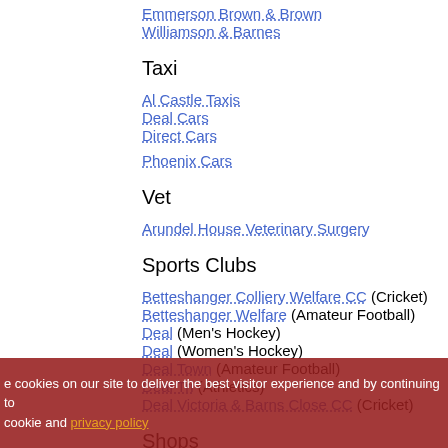Emmerson Brown & Brown
Williamson & Barnes
Taxi
Al Castle Taxis
Deal Cars
Direct Cars
Phoenix Cars
Vet
Arundel House Veterinary Surgery
Sports Clubs
Betteshanger Colliery Welfare CC (Cricket)
Betteshanger Welfare (Amateur Football)
Deal (Men's Hockey)
Deal (Women's Hockey)
Deal Town (Amateur Football)
Deal Tri (Athletics)
Deal Victoria & Barns Close CC (Cricket)
Shops
J C Rook & Sons
Teasels Floral World
Boots
Solley's Farms Ice-Cream Ltd
Walmer Nursery
Deal Garden Centre
The Pet Food Shop
e cookies on our site to deliver the best visitor experience and by continuing to cookie and privacy policy